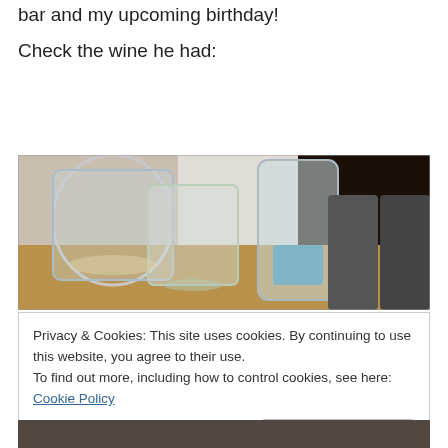bar and my upcoming birthday!
Check the wine he had:
[Figure (photo): Photo of wine glasses and a water bottle on a table, with chairs in the background]
Privacy & Cookies: This site uses cookies. By continuing to use this website, you agree to their use.
To find out more, including how to control cookies, see here: Cookie Policy
Close and accept
[Figure (photo): Bottom portion of another photo partially visible]